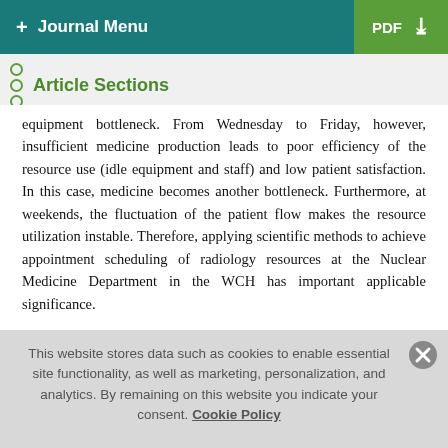+ Journal Menu   PDF ↓
Article Sections
equipment bottleneck. From Wednesday to Friday, however, insufficient medicine production leads to poor efficiency of the resource use (idle equipment and staff) and low patient satisfaction. In this case, medicine becomes another bottleneck. Furthermore, at weekends, the fluctuation of the patient flow makes the resource utilization instable. Therefore, applying scientific methods to achieve appointment scheduling of radiology resources at the Nuclear Medicine Department in the WCH has important applicable significance.

Patient requests in nuclear medicine arrive in an online fashion during the day, as the scheduling proceeds, which makes it
This website stores data such as cookies to enable essential site functionality, as well as marketing, personalization, and analytics. By remaining on this website you indicate your consent. Cookie Policy